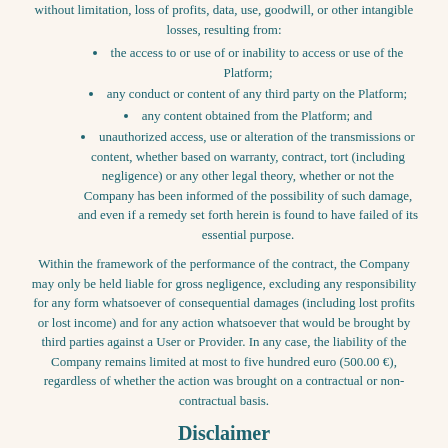without limitation, loss of profits, data, use, goodwill, or other intangible losses, resulting from:
the access to or use of or inability to access or use of the Platform;
any conduct or content of any third party on the Platform;
any content obtained from the Platform; and
unauthorized access, use or alteration of the transmissions or content, whether based on warranty, contract, tort (including negligence) or any other legal theory, whether or not the Company has been informed of the possibility of such damage, and even if a remedy set forth herein is found to have failed of its essential purpose.
Within the framework of the performance of the contract, the Company may only be held liable for gross negligence, excluding any responsibility for any form whatsoever of consequential damages (including lost profits or lost income) and for any action whatsoever that would be brought by third parties against a User or Provider. In any case, the liability of the Company remains limited at most to five hundred euro (500.00 €), regardless of whether the action was brought on a contractual or non-contractual basis.
Disclaimer
The Company, its subsidiaries, affiliates, and its licensors do not